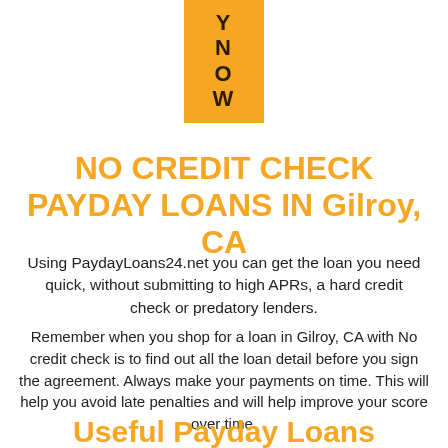[Figure (logo): Orange vertical rectangle logo with letters Y, N, O, W stacked vertically in dark text]
NO CREDIT CHECK PAYDAY LOANS IN Gilroy, CA
Using PaydayLoans24.net you can get the loan you need quick, without submitting to high APRs, a hard credit check or predatory lenders.
Remember when you shop for a loan in Gilroy, CA with No credit check is to find out all the loan detail before you sign the agreement. Always make your payments on time. This will help you avoid late penalties and will help improve your score over time.
Useful Payday Loans